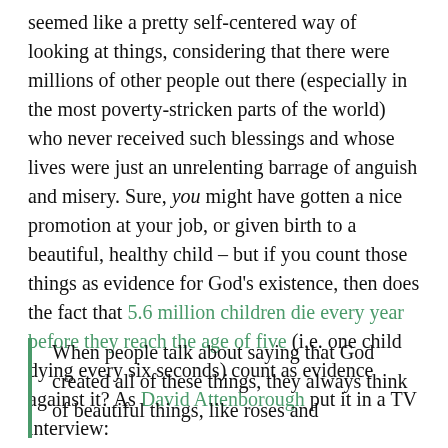seemed like a pretty self-centered way of looking at things, considering that there were millions of other people out there (especially in the most poverty-stricken parts of the world) who never received such blessings and whose lives were just an unrelenting barrage of anguish and misery. Sure, you might have gotten a nice promotion at your job, or given birth to a beautiful, healthy child – but if you count those things as evidence for God's existence, then does the fact that 5.6 million children die every year before they reach the age of five (i.e. one child dying every six seconds) count as evidence against it? As David Attenborough put it in a TV interview:
When people talk about saying that God created all of these things, they always think of beautiful things, like roses and hummingbirds and so on. But I think of...